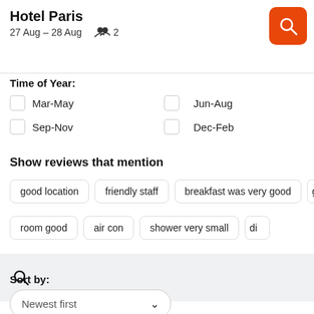Hotel Paris
27 Aug – 28 Aug   👥 2
Time of Year:
Mar-May
Jun-Aug
Sep-Nov
Dec-Feb
Show reviews that mention
good location | friendly staff | breakfast was very good | goo...
room good | air con | shower very small | di...
Search bar
Sort by:
Newest first